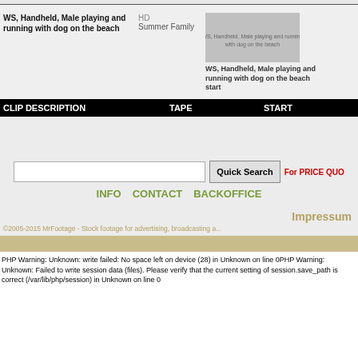[Figure (screenshot): Website screenshot showing stock footage clip with thumbnail, description 'WS, Handheld, Male playing and running with dog on the beach', tape label 'HD Summer Family', and start thumbnail image]
| CLIP DESCRIPTION | TAPE | START |
| --- | --- | --- |
[Figure (screenshot): Search interface with text input, Quick Search button, and 'For PRICE QUO...' text in red]
INFO   CONTACT   BACKOFFICE
Impressum
©2005-2015 MrFootage - Stock footage for advertising, broadcasting a...
PHP Warning: Unknown: write failed: No space left on device (28) in Unknown on line 0PHP Warning: Unknown: Failed to write session data (files). Please verify that the current setting of session.save_path is correct (/var/lib/php/session) in Unknown on line 0